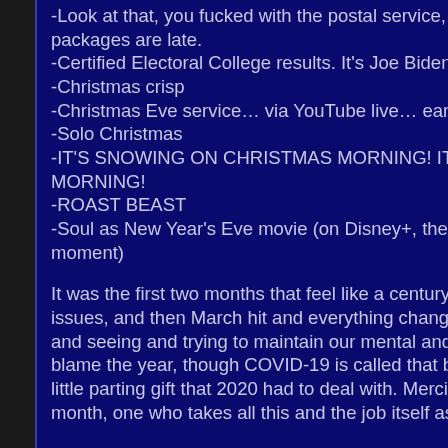-Look at that, you fucked with the postal service, and now all the Christmas packages are late.
-Certified Electoral College results. It's Joe Biden!
-Christmas crisp
-Christmas Eve service… via YouTube live… earlier in the evening.
-Solo Christmas
-IT'S SNOWING ON CHRISTMAS MORNING! IT'S SNOWING ON CHRISTMAS MORNING!
-ROAST BEAST
-Soul as New Year's Eve movie (on Disney+, theaters are kind of not a thing at the moment)
It was the first two months that feel like a century ago, with their own worries and issues, and then March hit and everything changed and ever since it's been waiting and seeing and trying to maintain our mental and physical health all the while. We blame the year, though COVID-19 is called that because it began in 2019, its own little parting gift that 2020 had to deal with. Mercifully, we have a new president next month, one who takes all this and the job itself as incomprehensible as this...